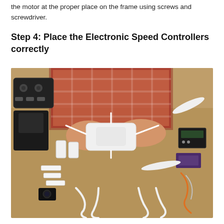the motor at the proper place on the frame using screws and screwdriver.
Step 4: Place the Electronic Speed Controllers correctly
[Figure (photo): Person assembling a white drone frame on a brown surface, with drone components including motors, camera, controller, propellers, and electronic parts scattered around the workspace.]
After assembling the motors, it is important to connect the speed controllers and these should be connected at the bottom of the